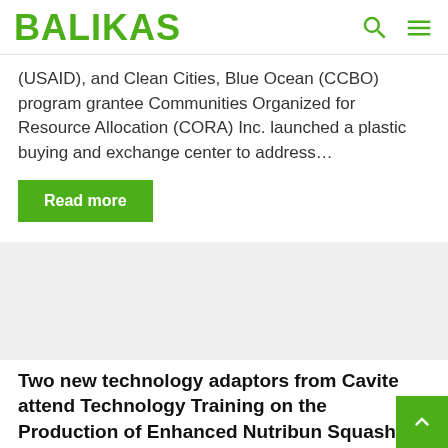BALIKAS
(USAID), and Clean Cities, Blue Ocean (CCBO) program grantee Communities Organized for Resource Allocation (CORA) Inc. launched a plastic buying and exchange center to address…
Read more
[Figure (photo): Placeholder image for article]
Two new technology adaptors from Cavite attend Technology Training on the Production of Enhanced Nutribun Squash Variant